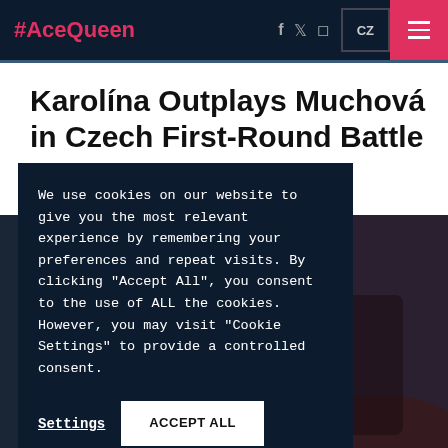#AceQueen
Karolína Outplays Muchová in Czech First-Round Battle
We use cookies on our website to give you the most relevant experience by remembering your preferences and repeat visits. By clicking "Accept All", you consent to the use of ALL the cookies. However, you may visit "Cookie Settings" to provide a controlled consent.
Settings   ACCEPT ALL